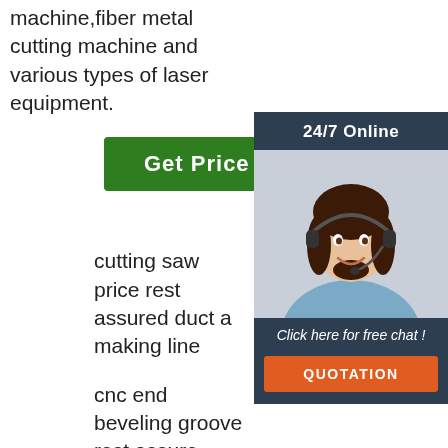machine,fiber metal cutting machine and various types of laser equipment.
[Figure (other): Green 'Get Price' button]
[Figure (photo): 24/7 Online chat widget with photo of smiling woman with headset, 'Click here for free chat!' text and orange QUOTATION button]
cutting saw price rest assured duct making line
cnc end beveling groove rest assured tube welding equipment
metal saw cutting rest assured tube fabrication production line
high precision metal cn beautiful appearance tube welding equipment